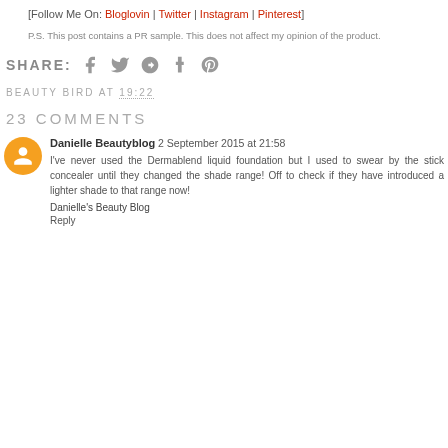[Follow Me On: Bloglovin | Twitter | Instagram | Pinterest]
P.S. This post contains a PR sample. This does not affect my opinion of the product.
SHARE:
BEAUTY BIRD AT 19:22
23 COMMENTS
Danielle Beautyblog 2 September 2015 at 21:58
I've never used the Dermablend liquid foundation but I used to swear by the stick concealer until they changed the shade range! Off to check if they have introduced a lighter shade to that range now!
Danielle's Beauty Blog
Reply